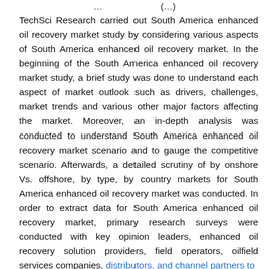… p y …                       (…)
TechSci Research carried out South America enhanced oil recovery market study by considering various aspects of South America enhanced oil recovery market. In the beginning of the South America enhanced oil recovery market study, a brief study was done to understand each aspect of market outlook such as drivers, challenges, market trends and various other major factors affecting the market. Moreover, an in-depth analysis was conducted to understand South America enhanced oil recovery market scenario and to gauge the competitive scenario. Afterwards, a detailed scrutiny of by onshore Vs. offshore, by type, by country markets for South America enhanced oil recovery market was conducted. In order to extract data for South America enhanced oil recovery market, primary research surveys were conducted with key opinion leaders, enhanced oil recovery solution providers, field operators, oilfield services companies, distributors, and channel partners to